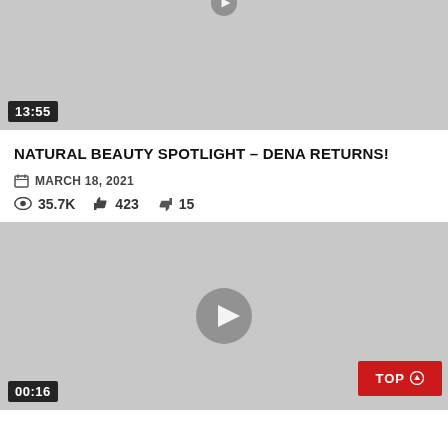[Figure (screenshot): Video thumbnail (gray background) with play button partially shown at top, duration badge '13:55' in bottom-left corner]
NATURAL BEAUTY SPOTLIGHT – DENA RETURNS!
MARCH 18, 2021
35.7K  423  15
[Figure (screenshot): Video thumbnail (gray background) with centered play button, duration badge '00:16' in bottom-left, and red 'TOP' button in bottom-right]